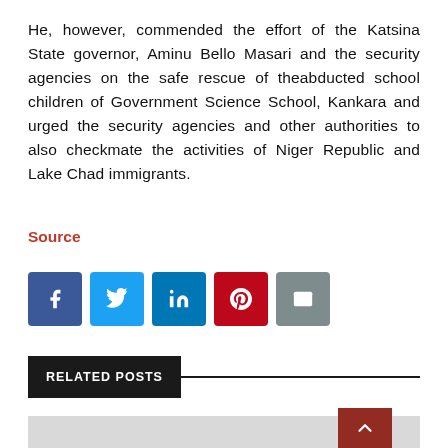He, however, commended the effort of the Katsina State governor, Aminu Bello Masari and the security agencies on the safe rescue of theabducted school children of Government Science School, Kankara and urged the security agencies and other authorities to also checkmate the activities of Niger Republic and Lake Chad immigrants.
Source
[Figure (other): Social media sharing buttons: Facebook, Twitter, LinkedIn, Pinterest, Email]
RELATED POSTS
[Figure (photo): Gray placeholder image for related post]